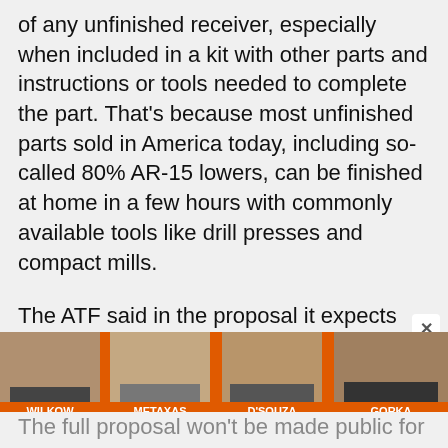of any unfinished receiver, especially when included in a kit with other parts and instructions or tools needed to complete the part. That's because most unfinished parts sold in America today, including so-called 80% AR-15 lowers, can be finished at home in a few hours with commonly available tools like drill presses and compact mills.
The ATF said in the proposal it expects the rule will have a “significant impact” on companies currently selling unfinished receivers, but it expects them to adapt to the new rule.
[Figure (photo): Advertisement banner featuring four men (Wilkow, Metaxas, D'Souza, Gorka) on an orange background]
The full proposal won't be made public for